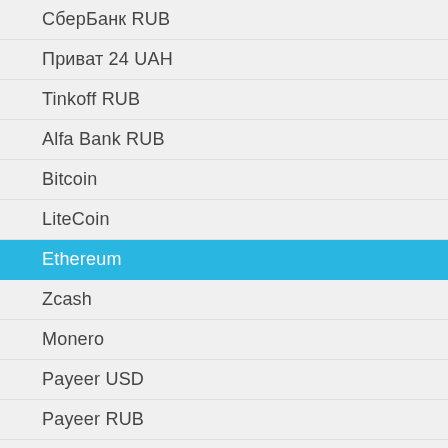СберБанк RUB
Приват 24 UAH
Tinkoff RUB
Alfa Bank RUB
Bitcoin
LiteCoin
Ethereum
Zcash
Monero
Payeer USD
Payeer RUB
Payeer EUR
Skrill USD
Skrill EUR
Neteller USD